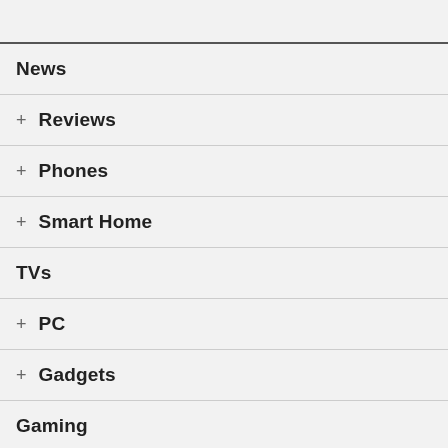News
+ Reviews
+ Phones
+ Smart Home
TVs
+ PC
+ Gadgets
Gaming
+ Security